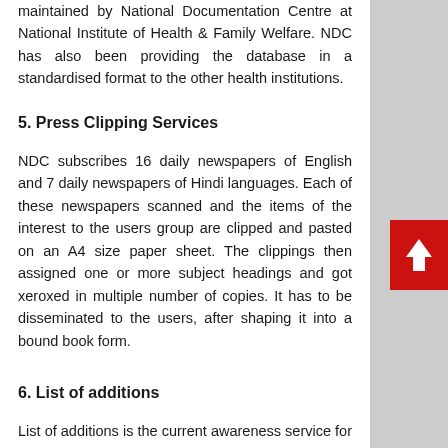maintained by National Documentation Centre at National Institute of Health & Family Welfare. NDC has also been providing the database in a standardised format to the other health institutions.
5. Press Clipping Services
NDC subscribes 16 daily newspapers of English and 7 daily newspapers of Hindi languages. Each of these newspapers scanned and the items of the interest to the users group are clipped and pasted on an A4 size paper sheet. The clippings then assigned one or more subject headings and got xeroxed in multiple number of copies. It has to be disseminated to the users, after shaping it into a bound book form.
6. List of additions
List of additions is the current awareness service for disseminating information regarding